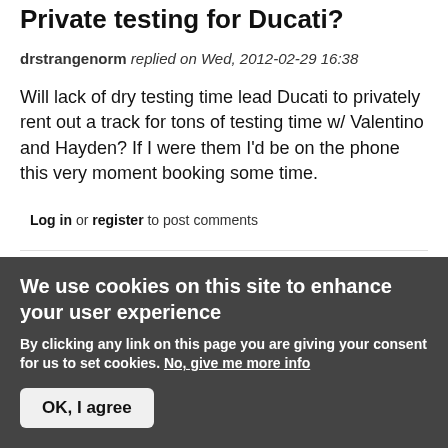Private testing for Ducati?
drstrangenorm replied on Wed, 2012-02-29 16:38
Will lack of dry testing time lead Ducati to privately rent out a track for tons of testing time w/ Valentino and Hayden? If I were them I'd be on the phone this very moment booking some time.
Log in or register to post comments
Testing testing 123
pagik replied on Wed, 2012-02-29 19:09
We use cookies on this site to enhance your user experience
By clicking any link on this page you are giving your consent for us to set cookies. No, give me more info
OK, I agree